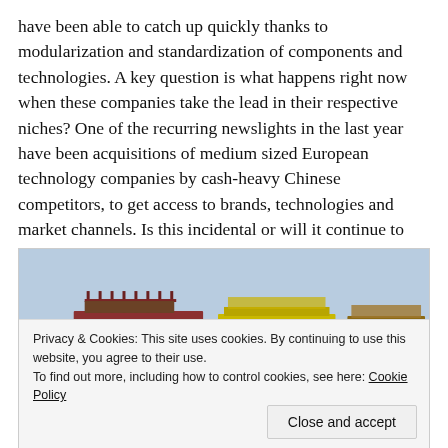have been able to catch up quickly thanks to modularization and standardization of components and technologies. A key question is what happens right now when these companies take the lead in their respective niches? One of the recurring newslights in the last year have been acquisitions of medium sized European technology companies by cash-heavy Chinese competitors, to get access to brands, technologies and market channels. Is this incidental or will it continue to increase? We will see...
[Figure (photo): Photo of model railway flatbed freight wagons/cars on a light blue background. Three wagons visible: a dark red flatcar with a brown load on the left, a yellow/green flatcar in the center, and a brown/beige flatcar on the right. A cookie consent banner overlays the lower portion of the image.]
Privacy & Cookies: This site uses cookies. By continuing to use this website, you agree to their use.
To find out more, including how to control cookies, see here: Cookie Policy
Close and accept